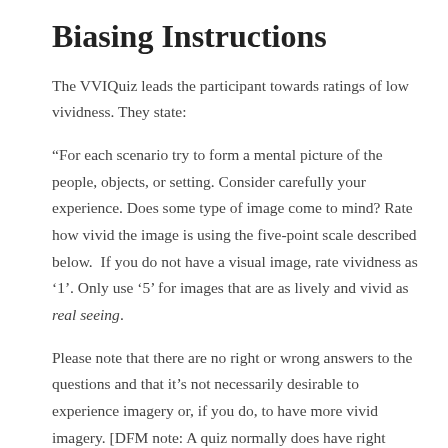Biasing Instructions
The VVIQuiz leads the participant towards ratings of low vividness. They state:
“For each scenario try to form a mental picture of the people, objects, or setting. Consider carefully your experience. Does some type of image come to mind? Rate how vivid the image is using the five-point scale described below.  If you do not have a visual image, rate vividness as ‘1’. Only use ‘5’ for images that are as lively and vivid as real seeing.
Please note that there are no right or wrong answers to the questions and that it’s not necessarily desirable to experience imagery or, if you do, to have more vivid imagery. [DFM note: A quiz normally does have right